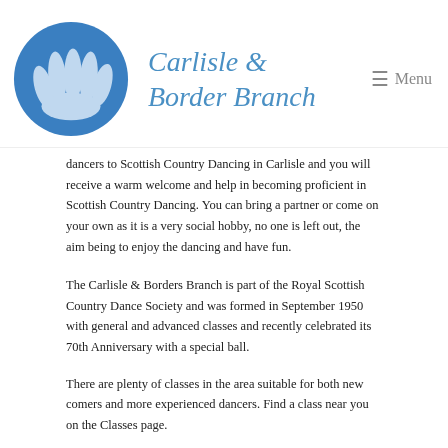Carlisle & Border Branch | Menu
dancers to Scottish Country Dancing in Carlisle and you will receive a warm welcome and help in becoming proficient in Scottish Country Dancing. You can bring a partner or come on your own as it is a very social hobby, no one is left out, the aim being to enjoy the dancing and have fun.
The Carlisle & Borders Branch is part of the Royal Scottish Country Dance Society and was formed in September 1950 with general and advanced classes and recently celebrated its 70th Anniversary with a special ball.
There are plenty of classes in the area suitable for both new comers and more experienced dancers. Find a class near you on the Classes page.
Dance groups from across north & west Cumbria and Lockerbie support each